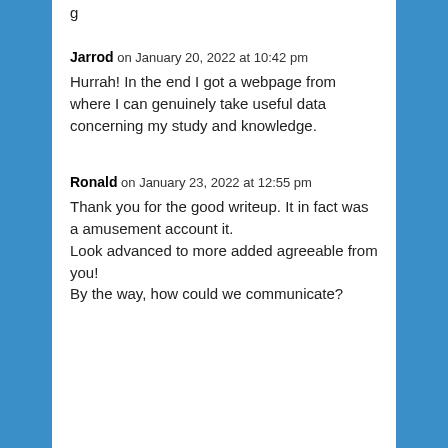g
Jarrod on January 20, 2022 at 10:42 pm
Hurrah! In the end I got a webpage from where I can genuinely take useful data concerning my study and knowledge.
Ronald on January 23, 2022 at 12:55 pm
Thank you for the good writeup. It in fact was a amusement account it. Look advanced to more added agreeable from you! By the way, how could we communicate?